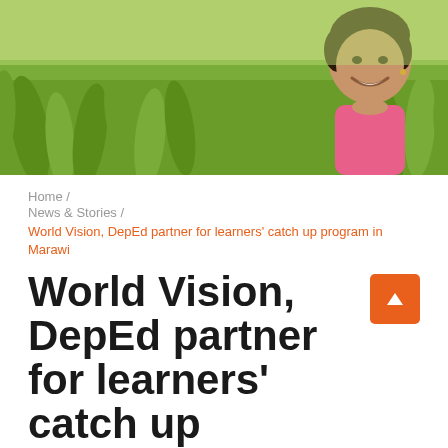[Figure (photo): A smiling young girl lying in green grass, wearing a pink shirt, photographed from above. Header banner image for a World Vision news article.]
Home / News & Stories / World Vision, DepEd partner for learners' catch up program in Marawi
World Vision, DepEd partner for learners' catch up program in Marawi